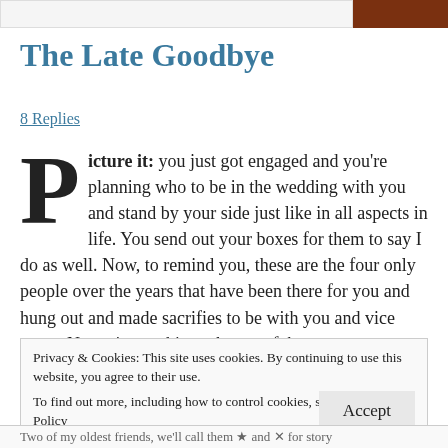[Figure (illustration): Top decorative image strip — left portion is a light gray/white area, right portion is a dark brownish-red image]
The Late Goodbye
8 Replies
Picture it: you just got engaged and you're planning who to be in the wedding with you and stand by your side just like in all aspects in life. You send out your boxes for them to say I do as well. Now, to remind you, these are the four only people over the years that have been there for you and hung out and made sacrifies to be with you and vice versa. Now picture this: only two of them
Privacy & Cookies: This site uses cookies. By continuing to use this website, you agree to their use.
To find out more, including how to control cookies, see here: Cookie Policy
Accept
Two of my oldest friends, we'll call them ★ and ✕ for story